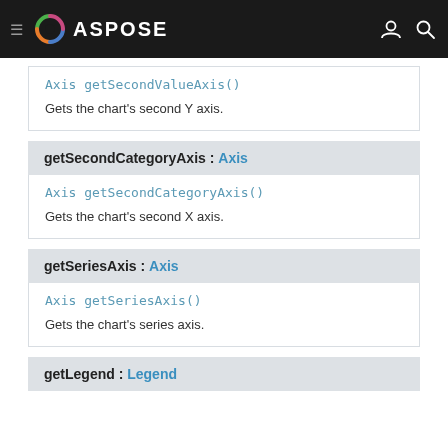ASPOSE
Axis getSecondValueAxis()
Gets the chart's second Y axis.
getSecondCategoryAxis : Axis
Axis getSecondCategoryAxis()
Gets the chart's second X axis.
getSeriesAxis : Axis
Axis getSeriesAxis()
Gets the chart's series axis.
getLegend : Legend